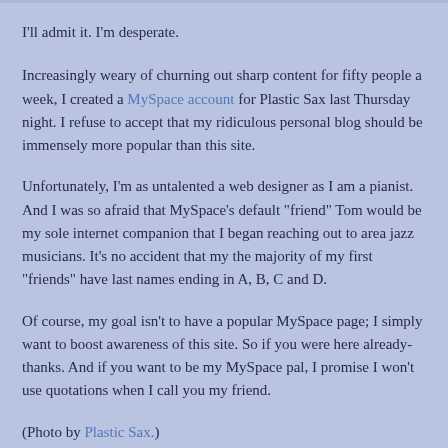I'll admit it. I'm desperate.
Increasingly weary of churning out sharp content for fifty people a week, I created a MySpace account for Plastic Sax last Thursday night. I refuse to accept that my ridiculous personal blog should be immensely more popular than this site.
Unfortunately, I'm as untalented a web designer as I am a pianist. And I was so afraid that MySpace's default "friend" Tom would be my sole internet companion that I began reaching out to area jazz musicians. It's no accident that my the majority of my first "friends" have last names ending in A, B, C and D.
Of course, my goal isn't to have a popular MySpace page; I simply want to boost awareness of this site. So if you were here already- thanks. And if you want to be my MySpace pal, I promise I won't use quotations when I call you my friend.
(Photo by Plastic Sax.)
POSTED BY HAPPY IN BAG AT 5:24 PM   1 COMMENT: